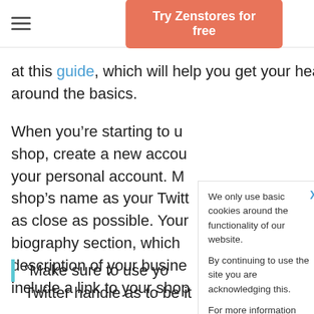Try Zenstores for free
at this guide, which will help you get your head around the basics.
When you’re starting to use Twitter for your shop, create a new account separate from your personal account. Make sure to use your shop’s name as your Twitter handle, or as close as possible. Your Twitter has a biography section, which allows a brief description of your business, and you can include a link to your shop.
We only use basic cookies around the functionality of our website.

By continuing to use the site you are acknowledging this.

For more information please see the Use of cookies section in our Privacy Policy.
“Make sure to use your Twitter handle as close to your site’s name as it